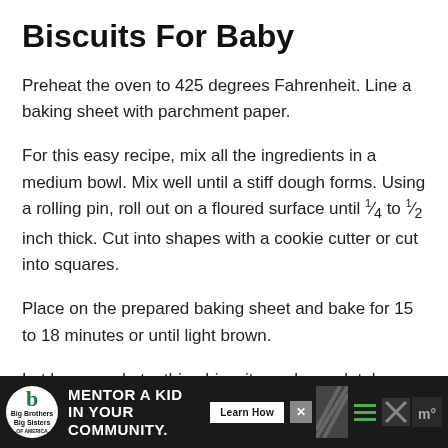Biscuits For Baby
Preheat the oven to 425 degrees Fahrenheit. Line a baking sheet with parchment paper.
For this easy recipe, mix all the ingredients in a medium bowl. Mix well until a stiff dough forms. Using a rolling pin, roll out on a floured surface until 1/4 to 1/2 inch thick. Cut into shapes with a cookie cutter or cut into squares.
Place on the prepared baking sheet and bake for 15 to 18 minutes or until light brown.
Let homemade teething biscuits cool completely. These teething cookies are actually quite tasty so try not to eat them all yourself!
[Figure (other): Advertisement banner for Big Brothers Big Sisters: 'MENTOR A KID IN YOUR COMMUNITY.' with a Learn How button]